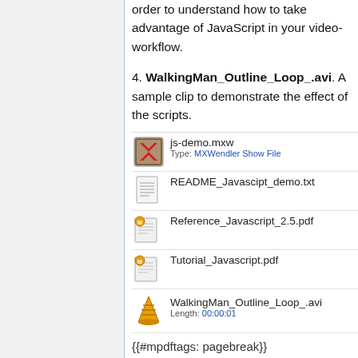order to understand how to take advantage of JavaScript in your video-workflow.
4. WalkingMan_Outline_Loop_.avi. A sample clip to demonstrate the effect of the scripts.
[Figure (screenshot): File listing showing: js-demo.mxw (MXWendler Show File), README_Javascipt_demo.txt, Reference_Javascript_2.5.pdf, Tutorial_Javascript.pdf, WalkingMan_Outline_Loop_.avi (Length: 00:00:01)]
{{#mpdftags: pagebreak}}
Loading and Using the Demo Scripts